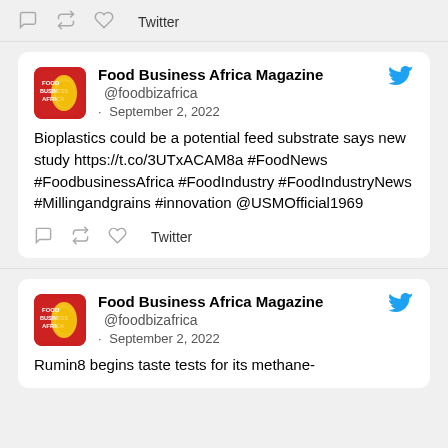[Figure (screenshot): Twitter action icons (reply, retweet, like) and Twitter label at top of page]
[Figure (screenshot): Food Business Africa Magazine tweet card with avatar logo, handle @foodbizafrica, date September 2 2022, tweet body about bioplastics, and action icons]
Food Business Africa Magazine @foodbizafrica · September 2, 2022
Bioplastics could be a potential feed substrate says new study https://t.co/3UTxACAM8a #FoodNews #FoodbusinessAfrica #FoodIndustry #FoodIndustryNews #Millingandgrains #innovation @USMOfficial1969
[Figure (screenshot): Food Business Africa Magazine second tweet card with avatar logo, handle @foodbizafrica, date September 2 2022, tweet body about Rumin8]
Food Business Africa Magazine @foodbizafrica · September 2, 2022
Rumin8 begins taste tests for its methane-